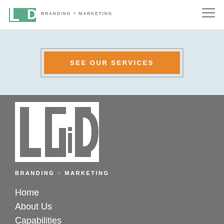LGD BRANDING + MARKETING
[Figure (logo): LGD Branding + Marketing logo in header, teal/green colored letters with hamburger menu icon on right]
SEE OUR SERVICES
[Figure (logo): Large white LGD Branding + Marketing logo on dark gray background]
BRANDING + MARKETING
Home
About Us
Capabilities